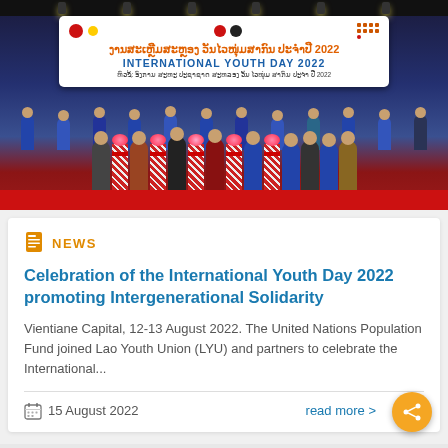[Figure (photo): Group photo at International Youth Day 2022 event in Laos. A large banner reads 'INTERNATIONAL YOUTH DAY 2022' in English and Lao script. Many officials and participants stand in a row on a stage with red carpet, holding red ribbon ceremonial pedestals decorated with flowers.]
NEWS
Celebration of the International Youth Day 2022 promoting Intergenerational Solidarity
Vientiane Capital, 12-13 August 2022. The United Nations Population Fund joined Lao Youth Union (LYU) and partners to celebrate the International...
15 August 2022
read more >